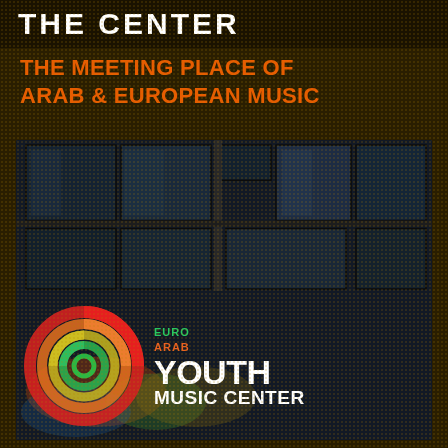THE CENTER
THE MEETING PLACE OF ARAB & EUROPEAN MUSIC
[Figure (photo): Exterior of the Euro Arab Youth Music Center building — a modern glass-facade structure with reflective panels. The Euro Arab Youth Music Center logo is overlaid in the lower portion: a colorful concentric ring icon (green, yellow, orange, red) alongside the organization name in white and colored text.]